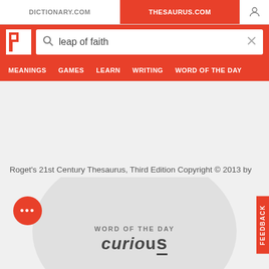DICTIONARY.COM | THESAURUS.COM
[Figure (screenshot): Thesaurus.com website header with search bar containing 'leap of faith', navigation tabs including MEANINGS, GAMES, LEARN, WRITING, WORD OF THE DAY]
Roget's 21st Century Thesaurus, Third Edition Copyright © 2013 by the Philip Lief Group.
WORD OF THE DAY